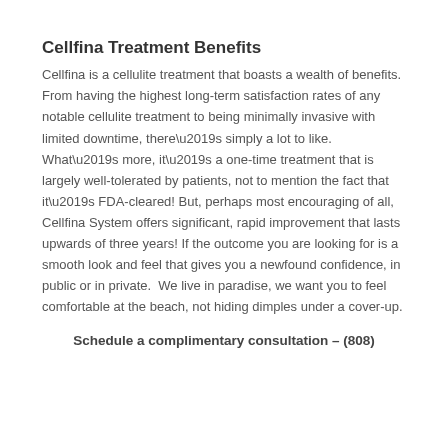Cellfina Treatment Benefits
Cellfina is a cellulite treatment that boasts a wealth of benefits. From having the highest long-term satisfaction rates of any notable cellulite treatment to being minimally invasive with limited downtime, there’s simply a lot to like. What’s more, it’s a one-time treatment that is largely well-tolerated by patients, not to mention the fact that it’s FDA-cleared! But, perhaps most encouraging of all, Cellfina System offers significant, rapid improvement that lasts upwards of three years! If the outcome you are looking for is a smooth look and feel that gives you a newfound confidence, in public or in private.  We live in paradise, we want you to feel comfortable at the beach, not hiding dimples under a cover-up.
Schedule a complimentary consultation – (808)